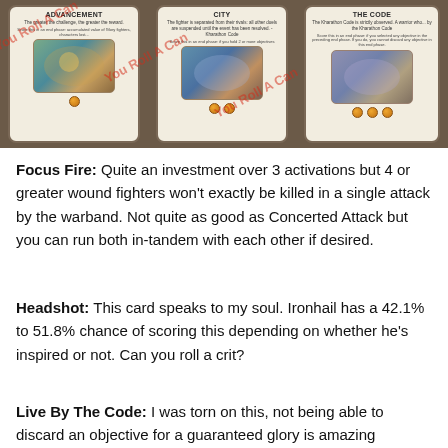[Figure (photo): Three game cards displayed side by side: Advancement, City, and The Code, each showing card art with illustrated characters/scenes, orange dot markers at the bottom, and text descriptions. Red diagonal watermark text overlay reads 'You Roll A Can'.]
Focus Fire: Quite an investment over 3 activations but 4 or greater wound fighters won't exactly be killed in a single attack by the warband. Not quite as good as Concerted Attack but you can run both in-tandem with each other if desired.
Headshot: This card speaks to my soul. Ironhail has a 42.1% to 51.8% chance of scoring this depending on whether he's inspired or not. Can you roll a crit?
Live By The Code: I was torn on this, not being able to discard an objective for a guaranteed glory is amazing